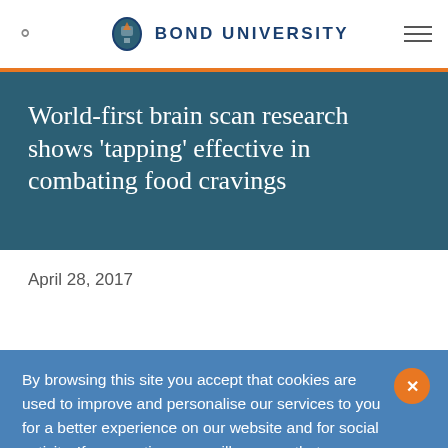Bond University
World-first brain scan research shows 'tapping' effective in combating food cravings
April 28, 2017
By browsing this site you accept that cookies are used to improve and personalise our services to you for a better experience on our website and for social activity. If you continue, we will assume that you agree to our use of cookies statement.